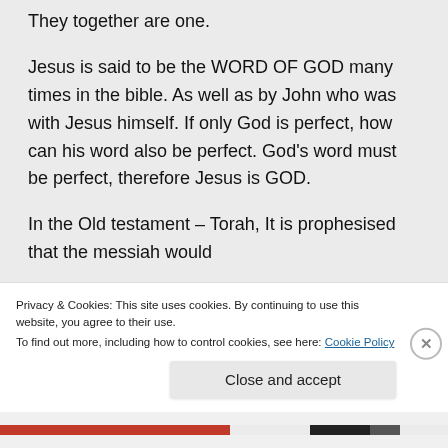They together are one.
Jesus is said to be the WORD OF GOD many times in the bible. As well as by John who was with Jesus himself. If only God is perfect, how can his word also be perfect. God's word must be perfect, therefore Jesus is GOD.
In the Old testament – Torah, It is prophesised that the messiah would
Privacy & Cookies: This site uses cookies. By continuing to use this website, you agree to their use.
To find out more, including how to control cookies, see here: Cookie Policy
Close and accept